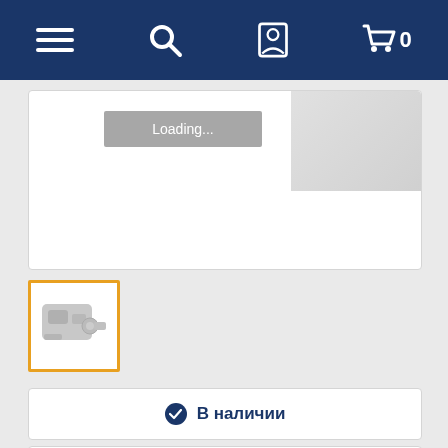[Figure (screenshot): Mobile e-commerce website navigation bar with hamburger menu, search icon, user account icon, and shopping cart with 0 items, on dark blue background]
[Figure (photo): Product main image area showing Loading... overlay on gray background with partial blurred product image visible]
[Figure (photo): Thumbnail image of automotive part (metal bracket/valve assembly) with orange border indicating selected state]
✔ В наличии
Рейтинг:
[Figure (other): Five empty star rating icons in gray]
✏ Оставить отзыв